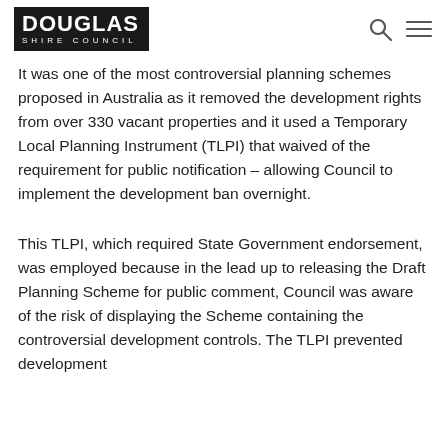Douglas Shire Council
It was one of the most controversial planning schemes proposed in Australia as it removed the development rights from over 330 vacant properties and it used a Temporary Local Planning Instrument (TLPI) that waived of the requirement for public notification – allowing Council to implement the development ban overnight.
This TLPI, which required State Government endorsement, was employed because in the lead up to releasing the Draft Planning Scheme for public comment, Council was aware of the risk of displaying the Scheme containing the controversial development controls. The TLPI prevented development